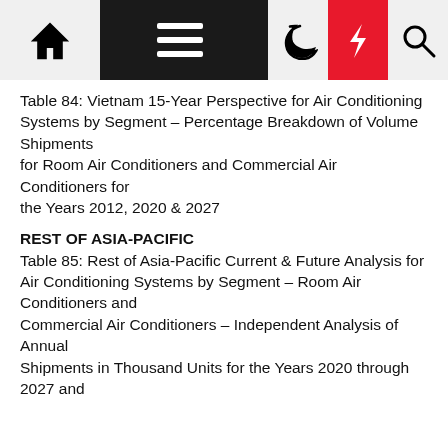Navigation bar with home, menu, moon, bolt, and search icons
Table 84: Vietnam 15-Year Perspective for Air Conditioning Systems by Segment – Percentage Breakdown of Volume Shipments for Room Air Conditioners and Commercial Air Conditioners for the Years 2012, 2020 & 2027
REST OF ASIA-PACIFIC
Table 85: Rest of Asia-Pacific Current & Future Analysis for Air Conditioning Systems by Segment – Room Air Conditioners and Commercial Air Conditioners – Independent Analysis of Annual Shipments in Thousand Units for the Years 2020 through 2027 and